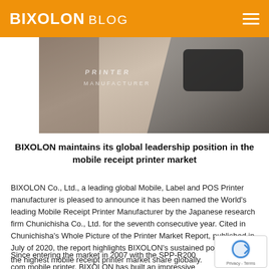BIXOLON BLOG
[Figure (photo): Hero image showing a hand holding a mobile receipt printer, with text overlaid reading PRINTER MANUFACTURER]
BIXOLON maintains its global leadership position in the mobile receipt printer market
BIXOLON Co., Ltd., a leading global Mobile, Label and POS Printer manufacturer is pleased to announce it has been named the World's leading Mobile Receipt Printer Manufacturer by the Japanese research firm Chunichisha Co., Ltd. for the seventh consecutive year. Cited in Chunichisha's Whole Picture of the Printer Market Report, published in July of 2020, the report highlights BIXOLON's sustained position having the highest mobile receipt printer market share globally.
Since entering the market in 2007 with the SPP-R200 compact mobile printer, BIXOLON has built an impressive portfolio of high quality, compact receipt, label and linerless label printing…